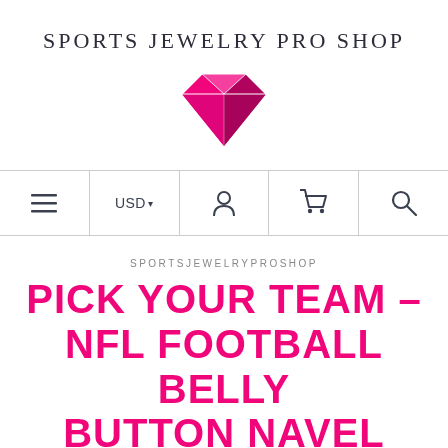[Figure (logo): Sports Jewelry Pro Shop logo with hot pink diamond gem icon and text 'SPORTS JEWELRY PRO SHOP' above it]
[Figure (infographic): Navigation bar with hamburger menu icon, USD currency selector with dropdown arrow, user/account icon, shopping cart icon, and search/magnifying glass icon, separated by vertical dividers]
SPORTSJEWELRYPROSHOP
PICK YOUR TEAM - NFL FOOTBALL BELLY BUTTON NAVEL RING